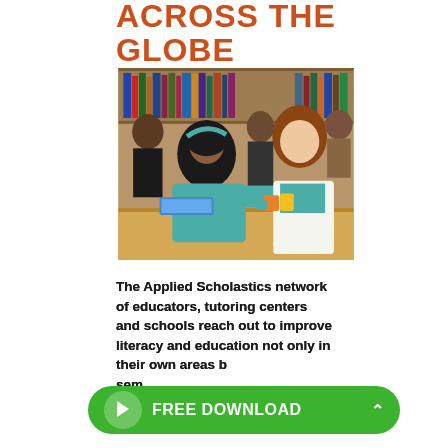ACROSS THE GLOBE
[Figure (photo): Students in a library setting; a girl wearing a black hijab and teal top reaches across a table toward colorful blocks while another girl in a white cardigan looks on; bookshelves visible in the background.]
The Applied Scholastics network of educators, tutoring centers and schools reach out to improve literacy and education not only in their own areas but also seminars, complete programs, teams of educators
FREE DOWNLOAD